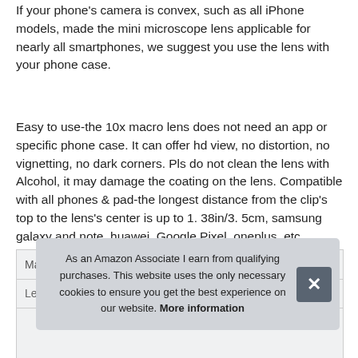If your phone's camera is convex, such as all iPhone models, made the mini microscope lens applicable for nearly all smartphones, we suggest you use the lens with your phone case.
Easy to use-the 10x macro lens does not need an app or specific phone case. It can offer hd view, no distortion, no vignetting, no dark corners. Pls do not clean the lens with Alcohol, it may damage the coating on the lens. Compatible with all phones & pad-the longest distance from the clip's top to the lens's center is up to 1. 38in/3. 5cm, samsung galaxy and note, huawei, Google Pixel, oneplus, etc.
| Ma |  |
| --- | --- |
| Length | 1.57 Inches |
As an Amazon Associate I earn from qualifying purchases. This website uses the only necessary cookies to ensure you get the best experience on our website. More information